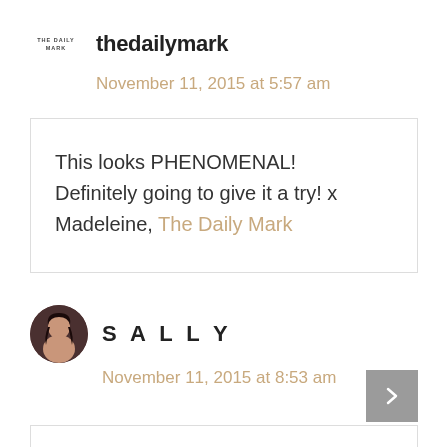thedailymark
November 11, 2015 at 5:57 am
This looks PHENOMENAL! Definitely going to give it a try! x Madeleine, The Daily Mark
SALLY
November 11, 2015 at 8:53 am